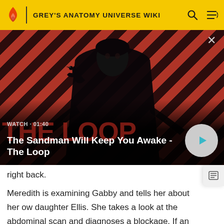GREY'S ANATOMY UNIVERSE WIKI
[Figure (screenshot): Video thumbnail showing a dark figure (The Sandman) with a raven on his shoulder against a red diagonal striped background. Overlaid text shows WATCH · 01:40 and title 'The Sandman Will Keep You Awake - The Loop' with a play button.]
right back.
Meredith is examining Gabby and tells her about her own daughter Ellis. She takes a look at the abdominal scan and diagnoses a blockage. If an air enema doesn't help, they might need to fix it surgically. Luis worries about the cost.